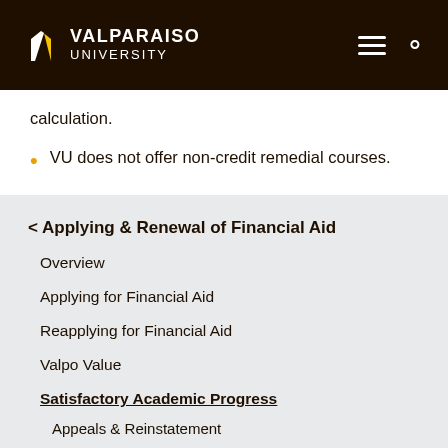VALPARAISO UNIVERSITY
calculation.
VU does not offer non-credit remedial courses.
< Applying & Renewal of Financial Aid
Overview
Applying for Financial Aid
Reapplying for Financial Aid
Valpo Value
Satisfactory Academic Progress
Appeals & Reinstatement
Maintaining Title IV Eligibility